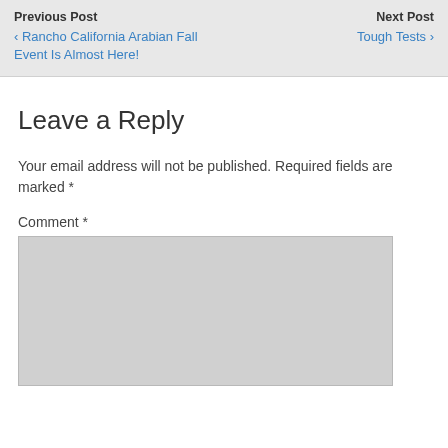Previous Post | Next Post | ‹ Rancho California Arabian Fall Event Is Almost Here! | Tough Tests ›
Leave a Reply
Your email address will not be published. Required fields are marked *
Comment *